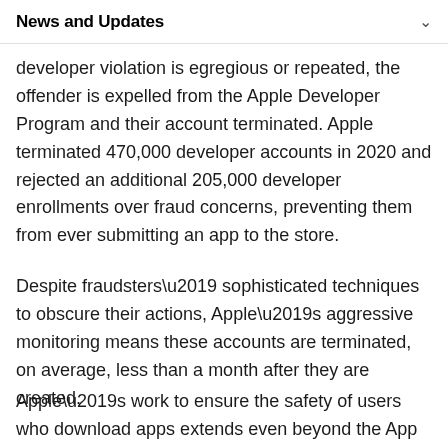News and Updates
Unfortunately, sometimes developer accounts
developer violation is egregious or repeated, the offender is expelled from the Apple Developer Program and their account terminated. Apple terminated 470,000 developer accounts in 2020 and rejected an additional 205,000 developer enrollments over fraud concerns, preventing them from ever submitting an app to the store.
Despite fraudsters’ sophisticated techniques to obscure their actions, Apple’s aggressive monitoring means these accounts are terminated, on average, less than a month after they are created.
Apple’s work to ensure the safety of users who download apps extends even beyond the App Store. Over the last 12 months, Apple found and blocked over 410,000 illicit attempts